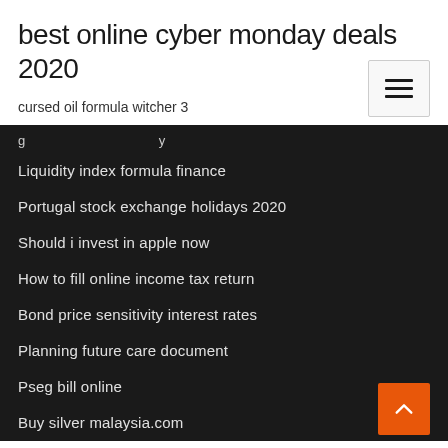best online cyber monday deals 2020
cursed oil formula witcher 3
Liquidity index formula finance
Portugal stock exchange holidays 2020
Should i invest in apple now
How to fill online income tax return
Bond price sensitivity interest rates
Planning future care document
Pseg bill online
Buy silver malaysia.com